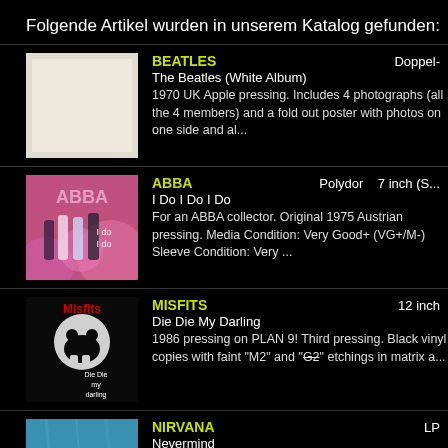Folgende Artikel wurden in unserem Katalog gefunden:
BEATLES | The Beatles (White Album) | 1970 UK Apple pressing. Includes 4 photographs (all the 4 members) and a fold out poster with photos on one side and al... | Doppel-
ABBA | Polydor | 7 inch (S... | I Do I Do I Do | For an ABBA collector. Original 1975 Austrian pressing. Media Condition: Very Good+ (VG+/M-) Sleeve Condition: Very ...
MISFITS | 12 inch | Die Die My Darling | 1986 pressing on PLAN 9! Third pressing. Black vinyl copies with faint "M2" and "G2" etchings in matrix a...
NIRVANA | LP | Nevermind | Original US (First press) Sept. 24 1991 The David Geffen Company pressing. Only some available in